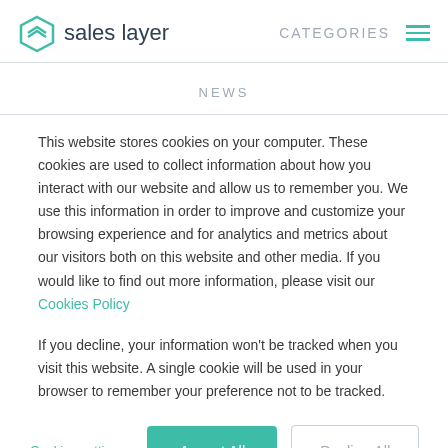sales layer | CATEGORIES
NEWS
This website stores cookies on your computer. These cookies are used to collect information about how you interact with our website and allow us to remember you. We use this information in order to improve and customize your browsing experience and for analytics and metrics about our visitors both on this website and other media. If you would like to find out more information, please visit our Cookies Policy
If you decline, your information won't be tracked when you visit this website. A single cookie will be used in your browser to remember your preference not to be tracked.
Cookies settings | Accept All | Decline All